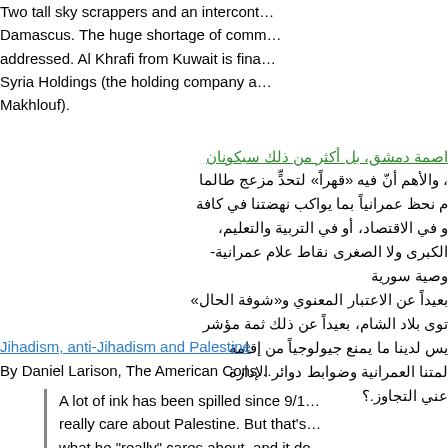Two tall sky scrappers and an intercont… Damascus. The huge shortage of comm… addressed. Al Khrafi from Kuwait is fina… Syria Holdings (the holding company a… Makhlouf).
اصمة دمشق، بل أكثر من ذلك سبكونان (Arabic link text)
والأهم أنّ فيه «قهراً» لتحدٍّ مزعج طالما م نحظ عمرانياً بما يواكب نهضتنا في كافة و في الاقتصاد، أو في التربية والتعليم، الكبرى ولا الصغرى نقاط علام عمرانية- وصية سورية بعيداً عن الاعتبار المعنوي و«شوفة الحال» توى بلاد الشام، بعيداً عن ذلك ثمة مؤشر يس لدينا ما يمنع جيولوجياً من إقامة لمتنا العمرانية وضوابط دوائر الإدارة عني التجاوز.؟
Jihadism, anti-Jihadism and Palestine
By Daniel Larison, The American Cons…
A lot of ink has been spilled since 9/1… really care about Palestine. But that's… what he "really" cares about, and it do…